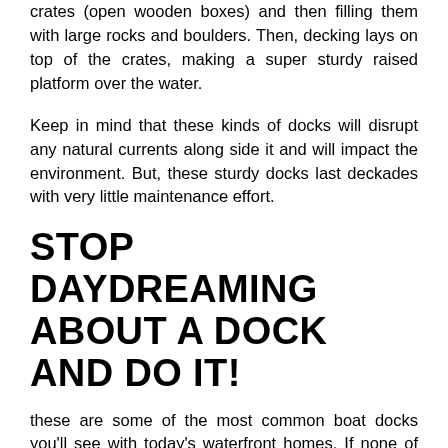crates (open wooden boxes) and then filling them with large rocks and boulders. Then, decking lays on top of the crates, making a super sturdy raised platform over the water.
Keep in mind that these kinds of docks will disrupt any natural currents along side it and will impact the environment. But, these sturdy docks last deckades with very little maintenance effort.
STOP DAYDREAMING ABOUT A DOCK AND DO IT!
these are some of the most common boat docks you'll see with today's waterfront homes. If none of these options suit your fancy, you could even have a custom dock made!